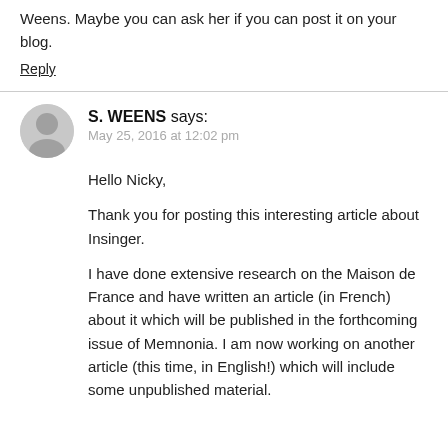Weens. Maybe you can ask her if you can post it on your blog.
Reply
S. WEENS says:
May 25, 2016 at 12:02 pm
Hello Nicky,
Thank you for posting this interesting article about Insinger.
I have done extensive research on the Maison de France and have written an article (in French) about it which will be published in the forthcoming issue of Memnonia. I am now working on another article (this time, in English!) which will include some unpublished material.